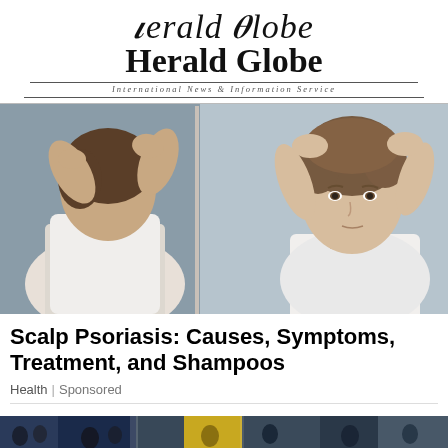Herald Globe
International News & Information Service
[Figure (photo): Man scratching his scalp while looking in a mirror, examining his hair/scalp condition]
Scalp Psoriasis: Causes, Symptoms, Treatment, and Shampoos
Health | Sponsored
[Figure (photo): Bottom strip showing a crowd/sports event scene]